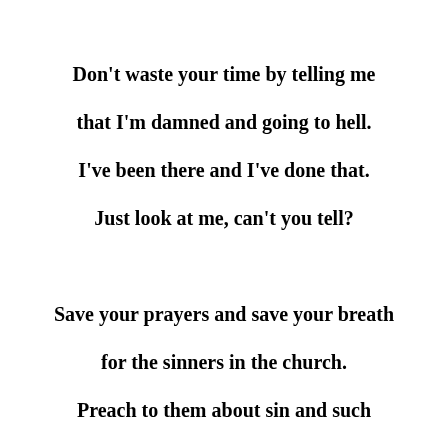Don't waste your time by telling me

that I'm damned and going to hell.

I've been there and I've done that.

Just look at me, can't you tell?



Save your prayers and save your breath

for the sinners in the church.

Preach to them about sin and such

from your lofty perch.